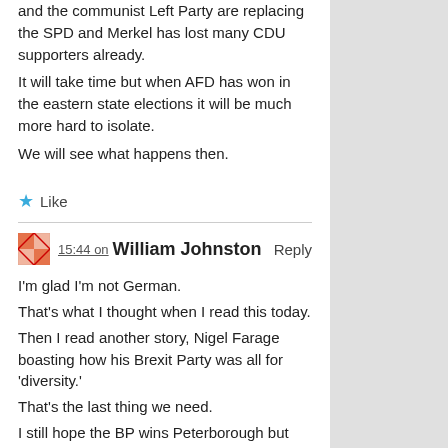and the communist Left Party are replacing the SPD and Merkel has lost many CDU supporters already.
It will take time but when AFD has won in the eastern state elections it will be much more hard to isolate.
We will see what happens then.
Like
15:44 on William Johnston Reply
I'm glad I'm not German.
That's what I thought when I read this today.
Then I read another story, Nigel Farage boasting how his Brexit Party was all for 'diversity.'
That's the last thing we need.
I still hope the BP wins Peterborough but even if they win the next general election, that'll not see us out of the woods, not by a long way.
What good's a Pied Piper that leads us out of the EUSSR playing a tune with unhealthy undertones of the very liberalism that makes us hate Brussels?